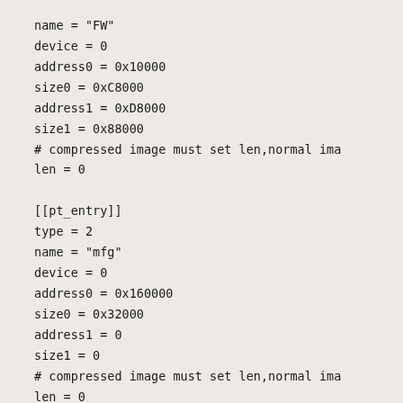name = "FW"
device = 0
address0 = 0x10000
size0 = 0xC8000
address1 = 0xD8000
size1 = 0x88000
# compressed image must set len,normal ima
len = 0

[[pt_entry]]
type = 2
name = "mfg"
device = 0
address0 = 0x160000
size0 = 0x32000
address1 = 0
size1 = 0
# compressed image must set len,normal ima
len = 0